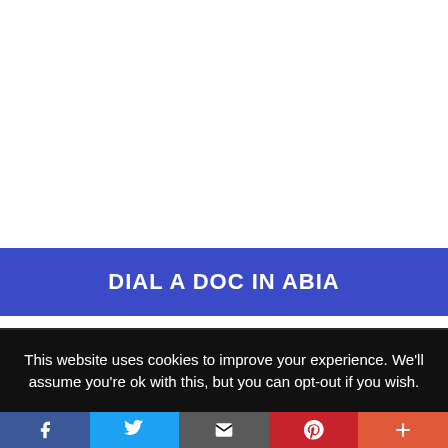DIAL A DOC IN ABIA
Media error: Format(s) not supported or source(s) not found
This website uses cookies to improve your experience. We'll assume you're ok with this, but you can opt-out if you wish.
[Figure (other): Social sharing bar with Facebook, Twitter, Email, Pinterest, and More buttons]